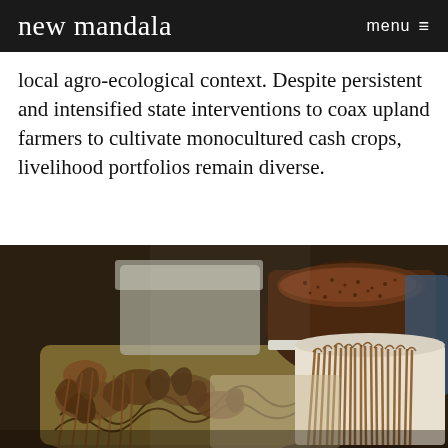new mandala   menu ≡
local agro-ecological context. Despite persistent and intensified state interventions to coax upland farmers to cultivate monocultured cash crops, livelihood portfolios remain diverse.
[Figure (photo): Photograph of large containers/sacks filled with cinnamon sticks (rolled bark) and ground cinnamon powder at what appears to be a market stall or processing facility. Multiple buckets and bags of varying shades of brown cinnamon products are visible.]